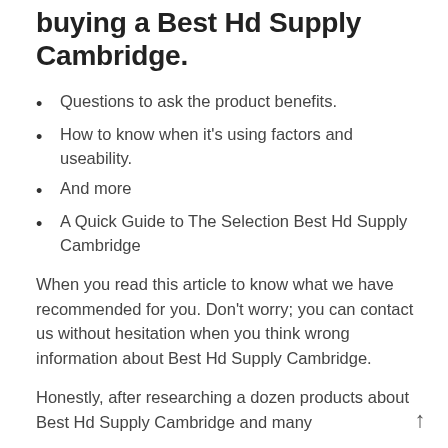buying a Best Hd Supply Cambridge.
Questions to ask the product benefits.
How to know when it's using factors and useability.
And more
A Quick Guide to The Selection Best Hd Supply Cambridge
When you read this article to know what we have recommended for you. Don't worry; you can contact us without hesitation when you think wrong information about Best Hd Supply Cambridge.
Honestly, after researching a dozen products about Best Hd Supply Cambridge and many